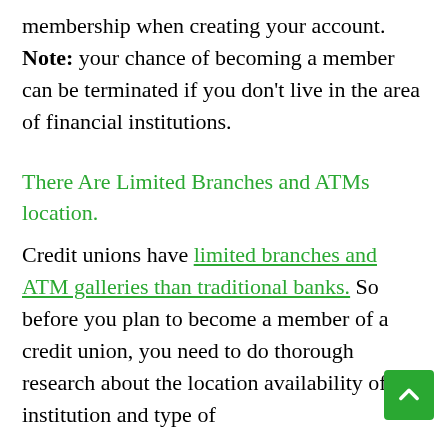membership when creating your account. Note: your chance of becoming a member can be terminated if you don't live in the area of financial institutions.
There Are Limited Branches and ATMs location.
Credit unions have limited branches and ATM galleries than traditional banks. So before you plan to become a member of a credit union, you need to do thorough research about the location availability of the institution and type of